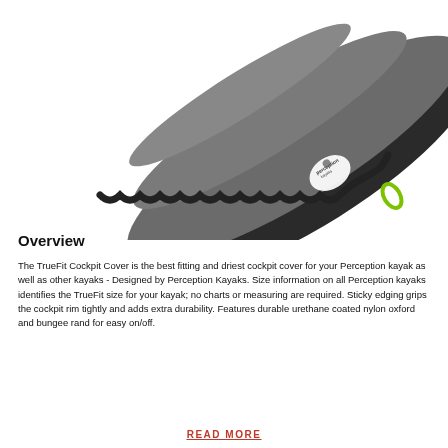[Figure (photo): A gray kayak cockpit cover (TrueFit) with Perception branding logo and a green pull loop, photographed at an angle on a white background.]
Overview
The TrueFit Cockpit Cover is the best fitting and driest cockpit cover for your Perception kayak as well as other kayaks - Designed by Perception Kayaks. Size information on all Perception kayaks identifies the TrueFit size for your kayak; no charts or measuring are required. Sticky edging grips the cockpit rim tightly and adds extra durability. Features durable urethane coated nylon oxford and bungee rand for easy on/off.
READ MORE